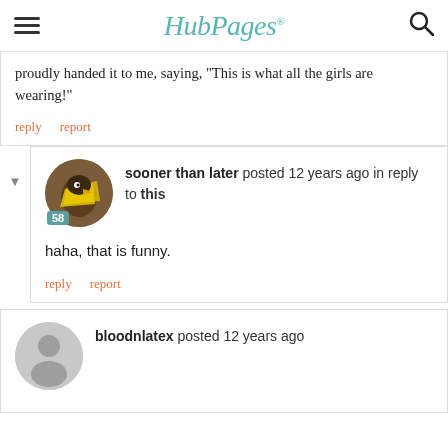HubPages
proudly handed it to me, saying, "This is what all the girls are wearing!"
reply   report
[Figure (photo): Avatar photo of user 'sooner than later' showing a yellow and black bird, with badge showing 58]
sooner than later posted 12 years ago in reply to this
haha, that is funny.
reply   report
[Figure (photo): Gray default avatar silhouette for user 'bloodnlatex']
bloodnlatex posted 12 years ago